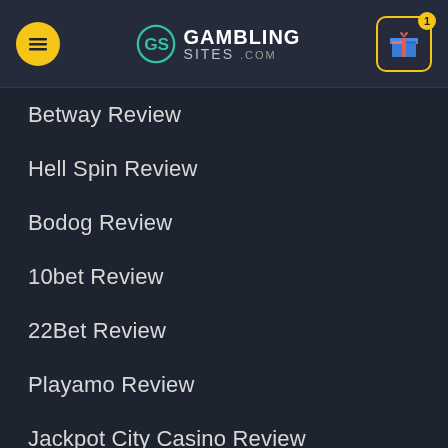GamblingsSites.com navigation header
Betway Review
Hell Spin Review
Bodog Review
10bet Review
22Bet Review
Playamo Review
Jackpot City Casino Review
PLAY FOR REAL MONEY
Casino War
Pai Gow
Craps
Pokies